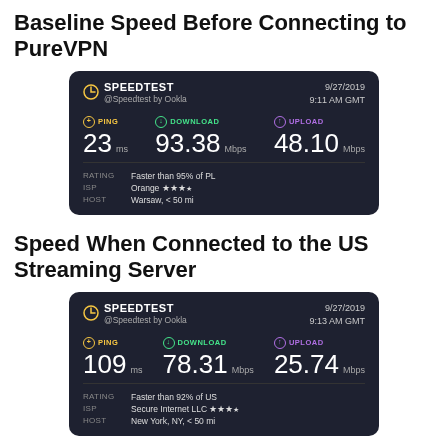Baseline Speed Before Connecting to PureVPN
[Figure (screenshot): Speedtest by Ookla result card showing baseline speed: PING 23ms, DOWNLOAD 93.38 Mbps, UPLOAD 48.10 Mbps. Date: 9/27/2019 9:11 AM GMT. Rating: Faster than 95% of PL. ISP: Orange ★★★. HOST: Warsaw, < 50 mi.]
Speed When Connected to the US Streaming Server
[Figure (screenshot): Speedtest by Ookla result card showing speed on US Streaming Server: PING 109ms, DOWNLOAD 78.31 Mbps, UPLOAD 25.74 Mbps. Date: 9/27/2019 9:13 AM GMT. Rating: Faster than 92% of US. ISP: Secure Internet LLC ★★★★. HOST: New York, NY, < 50 mi.]